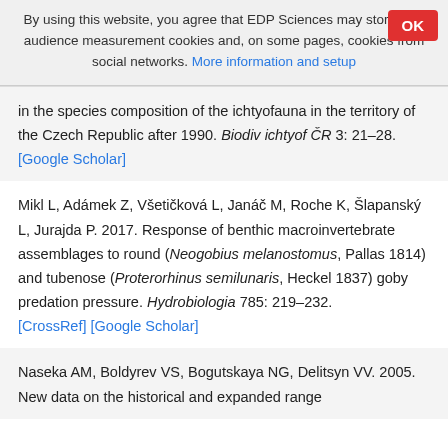By using this website, you agree that EDP Sciences may store web audience measurement cookies and, on some pages, cookies from social networks. More information and setup
in the species composition of the ichtyofauna in the territory of the Czech Republic after 1990. Biodiv ichtyof ČR 3: 21–28. [Google Scholar]
Mikl L, Adámek Z, Všetičková L, Janáč M, Roche K, Šlapanský L, Jurajda P. 2017. Response of benthic macroinvertebrate assemblages to round (Neogobius melanostomus, Pallas 1814) and tubenose (Proterorhinus semilunaris, Heckel 1837) goby predation pressure. Hydrobiologia 785: 219–232. [CrossRef] [Google Scholar]
Naseka AM, Boldyrev VS, Bogutskaya NG, Delitsyn VV. 2005. New data on the historical and expanded range